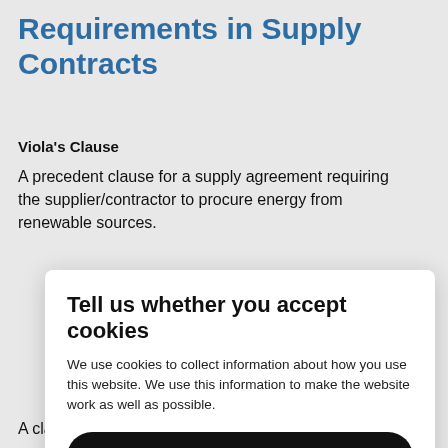Requirements in Supply Contracts
Viola's Clause
A precedent clause for a supply agreement requiring the supplier/contractor to procure energy from renewable sources.
Tell us whether you accept cookies
We use cookies to collect information about how you use this website. We use this information to make the website work as well as possible.
Accept all cookies
Set cookie prefences
A clause obliging stakeholders in